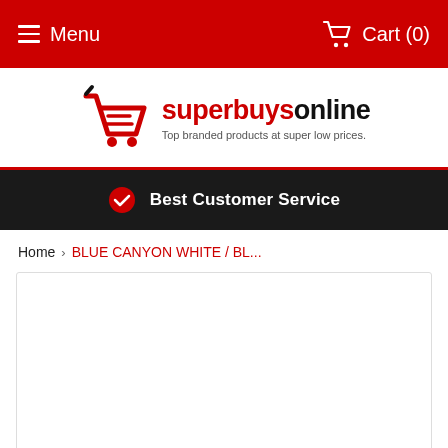Menu   Cart (0)
[Figure (logo): Superbuysonline logo with red shopping cart icon, brand name in red and black, tagline: Top branded products at super low prices.]
Best Customer Service
Home › BLUE CANYON WHITE / BL...
[Figure (photo): White empty product image area with light border]